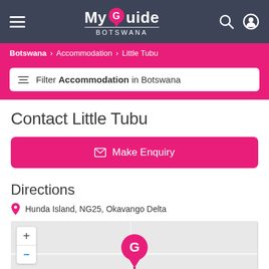My Guide Botswana
Botswana > Accommodation > Little Tubu
Filter Accommodation in Botswana
Contact Little Tubu
Make Enquiry
Directions
Hunda Island, NG25, Okavango Delta
[Figure (map): Interactive map showing location of Little Tubu at Hunda Island, NG25, Okavango Delta with a pink map pin marker and zoom controls]